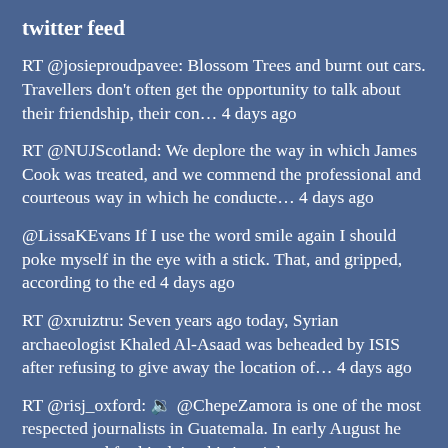twitter feed
RT @josieproudpavee: Blossom Trees and burnt out cars. Travellers don't often get the opportunity to talk about their friendship, their con… 4 days ago
RT @NUJScotland: We deplore the way in which James Cook was treated, and we commend the professional and courteous way in which he conducte… 4 days ago
@LissaKEvans If I use the word smile again I should poke myself in the eye with a stick. That, and gripped, according to the ed 4 days ago
RT @xruiztru: Seven years ago today, Syrian archaeologist Khaled Al-Asaad was beheaded by ISIS after refusing to give away the location of… 4 days ago
RT @risj_oxford: 🔉 @ChepeZamora is one of the most respected journalists in Guatemala. In early August he was arrested for his doing his j… 4 days ago